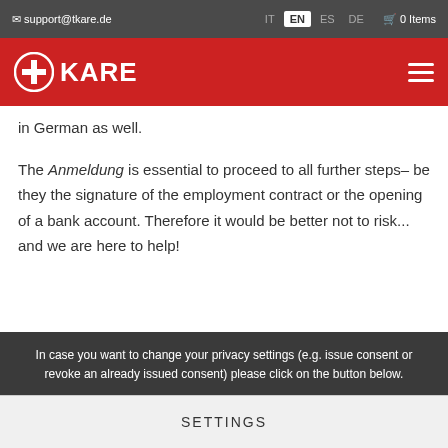support@tkare.de  IT  EN  ES  DE  0 Items
[Figure (logo): TKARE logo — white circle with cross/plus icon and KARE text on red background, with hamburger menu icon on the right]
in German as well.
The Anmeldung is essential to proceed to all further steps– be they the signature of the employment contract or the opening of a bank account. Therefore it would be better not to risk... and we are here to help!
Health insurance
In case you want to change your privacy settings (e.g. issue consent or revoke an already issued consent) please click on the button below.
SETTINGS